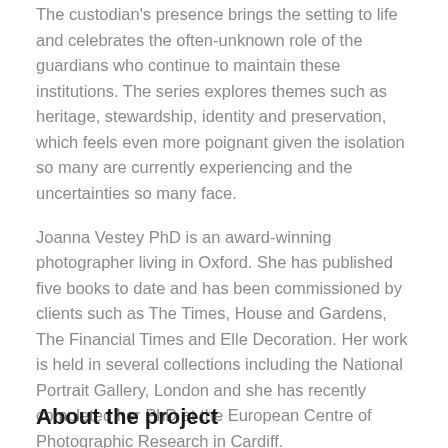The custodian's presence brings the setting to life and celebrates the often-unknown role of the guardians who continue to maintain these institutions. The series explores themes such as heritage, stewardship, identity and preservation, which feels even more poignant given the isolation so many are currently experiencing and the uncertainties so many face.
Joanna Vestey PhD is an award-winning photographer living in Oxford. She has published five books to date and has been commissioned by clients such as The Times, House and Gardens, The Financial Times and Elle Decoration. Her work is held in several collections including the National Portrait Gallery, London and she has recently completed her PhD at the European Centre of Photographic Research in Cardiff.
About the project